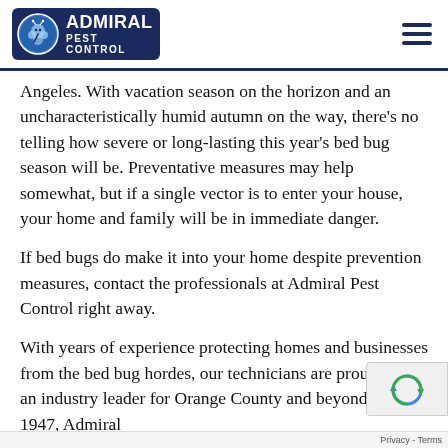Admiral Pest Control
Angeles. With vacation season on the horizon and an uncharacteristically humid autumn on the way, there’s no telling how severe or long-lasting this year’s bed bug season will be. Preventative measures may help somewhat, but if a single vector is to enter your house, your home and family will be in immediate danger.
If bed bugs do make it into your home despite prevention measures, contact the professionals at Admiral Pest Control right away.
With years of experience protecting homes and businesses from the bed bug hordes, our technicians are proud to be an industry leader for Orange County and beyond. Since 1947, Admiral